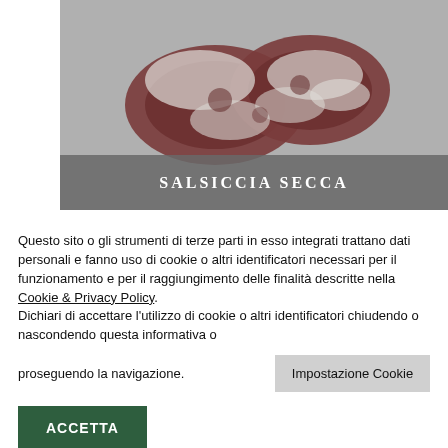[Figure (photo): Photo of salsiccia secca (dry sausage/salami) showing two cured meat sausages with white mold coating, displayed against a light background. Dark grey banner at bottom reads 'SALSICCIA SECCA'.]
Questo sito o gli strumenti di terze parti in esso integrati trattano dati personali e fanno uso di cookie o altri identificatori necessari per il funzionamento e per il raggiungimento delle finalità descritte nella Cookie & Privacy Policy.
Dichiari di accettare l'utilizzo di cookie o altri identificatori chiudendo o nascondendo questa informativa o
proseguendo la navigazione.
Impostazione Cookie
ACCETTA